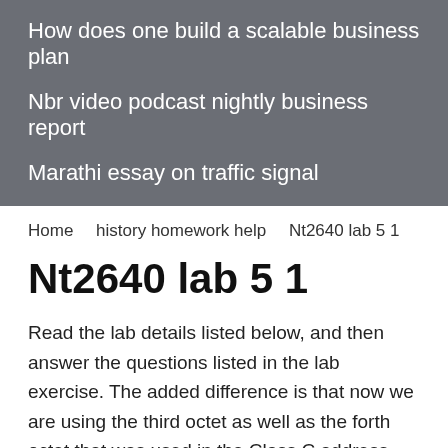How does one build a scalable business plan
Nbr video podcast nightly business report
Marathi essay on traffic signal
Home    history homework help    Nt2640 lab 5 1
Nt2640 lab 5 1
Read the lab details listed below, and then answer the questions listed in the lab exercise. The added difference is that now we are using the third octet as well as the forth octet that was used in the Class C address. This is because the first two octet are the network values and now, the last two Octets are the Host values as shown here: Class B Subnetting Guide Groups: